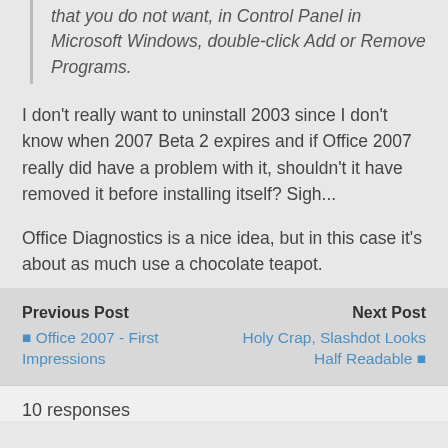that you do not want, in Control Panel in Microsoft Windows, double-click Add or Remove Programs.
I don't really want to uninstall 2003 since I don't know when 2007 Beta 2 expires and if Office 2007 really did have a problem with it, shouldn't it have removed it before installing itself? Sigh...
Office Diagnostics is a nice idea, but in this case it's about as much use a chocolate teapot.
Previous Post | Next Post | ← Office 2007 - First Impressions | Holy Crap, Slashdot Looks Half Readable →
10 responses